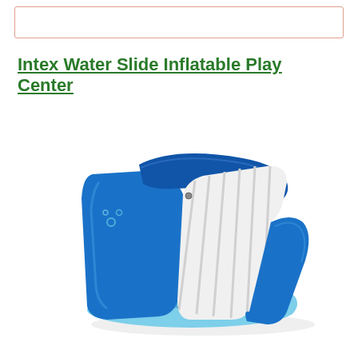Intex Water Slide Inflatable Play Center
[Figure (photo): Intex Kool Splash inflatable water slide play center, blue and white in color, shown at an angle. The inflatable features a tall blue rear section, a white ribbed slide surface, a blue handle/rail at the top, and a light blue base with 'KOOL SPLASH' text and water splash graphics.]